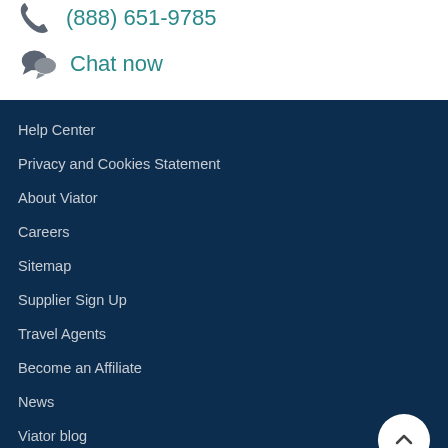(888) 651-9785
Chat now
Help Center
Privacy and Cookies Statement
About Viator
Careers
Sitemap
Supplier Sign Up
Travel Agents
Become an Affiliate
News
Viator blog